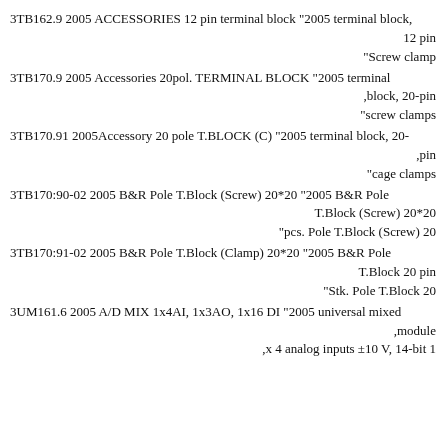3TB162.9 2005 ACCESSORIES 12 pin terminal block "2005 terminal block, 12 pin
"Screw clamp
3TB170.9 2005 Accessories 20pol. TERMINAL BLOCK "2005 terminal block, 20-pin
"screw clamps
3TB170.91 2005Accessory 20 pole T.BLOCK (C) "2005 terminal block, 20-pin
"cage clamps
3TB170:90-02 2005 B&R Pole T.Block (Screw) 20*20 "2005 B&R Pole T.Block (Screw) 20*20
"pcs. Pole T.Block (Screw) 20
3TB170:91-02 2005 B&R Pole T.Block (Clamp) 20*20 "2005 B&R Pole T.Block 20 pin
"Stk. Pole T.Block 20
3UM161.6 2005 A/D MIX 1x4AI, 1x3AO, 1x16 DI "2005 universal mixed module
,x 4 analog inputs ±10 V, 14-bit 1